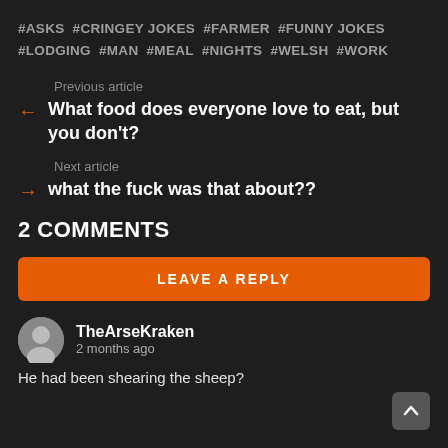#ASKS #CRINGEY JOKES #FARMER #FUNNY JOKES #LODGING #MAN #MEAL #NIGHTS #WELSH #WORK
Previous article
What food does everyone love to eat, but you don't?
Next article
what the fuck was that about??
2 COMMENTS
LEAVE A REPLY
TheArseKraken
2 months ago
He had been shearing the sheep?